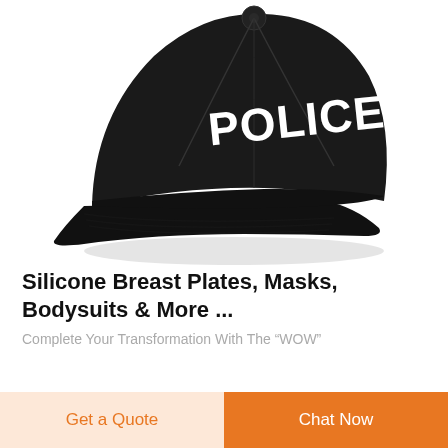[Figure (photo): A black baseball cap with white bold text 'POLICE' on the front panel, photographed on a white background.]
Silicone Breast Plates, Masks, Bodysuits & More ...
Complete Your Transformation With The “WOW”
Get a Quote
Chat Now